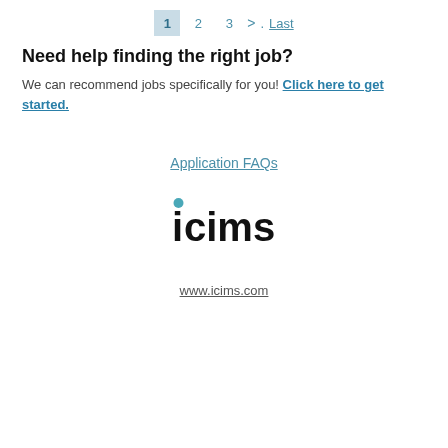1  2  3  >  Last
Need help finding the right job?
We can recommend jobs specifically for you! Click here to get started.
Application FAQs
[Figure (logo): iCIMS logo with teal dot above the letter i]
www.icims.com